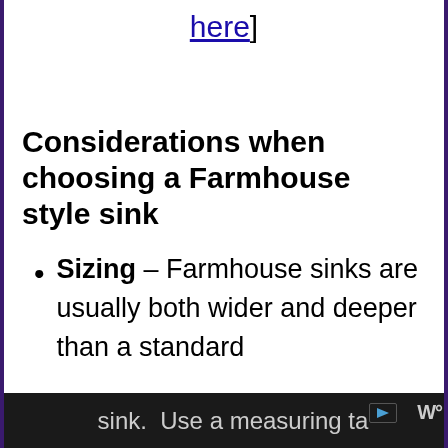here]
Considerations when choosing a Farmhouse style sink
Sizing – Farmhouse sinks are usually both wider and deeper than a standard sink.  Use a measuring tape